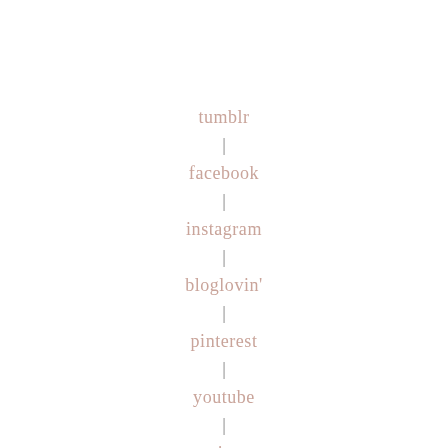tumblr
facebook
instagram
bloglovin'
pinterest
youtube
twitter